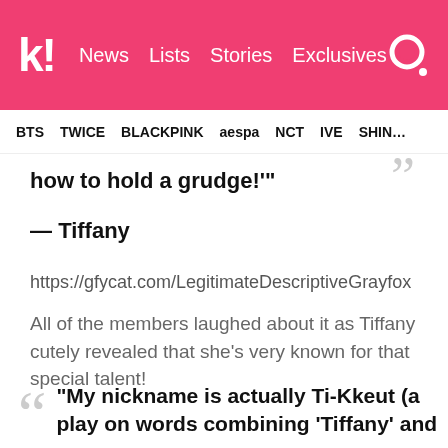k! News  Lists  Stories  Exclusives
BTS  TWICE  BLACKPINK  aespa  NCT  IVE  SHINee
how to hold a grudge!'"
— Tiffany
https://gfycat.com/LegitimateDescriptiveGrayfox
All of the members laughed about it as Tiffany cutely revealed that she's very known for that special talent!
"My nickname is actually Ti-Kkeut (a play on words combining 'Tiffany' and